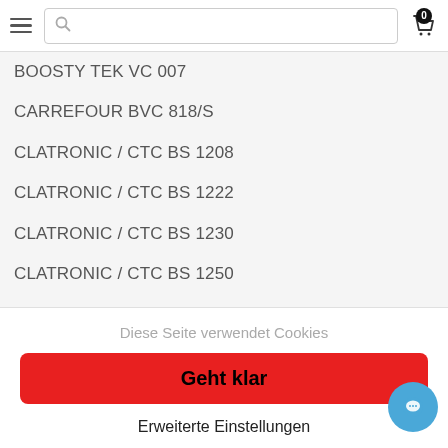Navigation bar with hamburger menu, search box, and cart (0)
BOOSTY TEK VC 007
CARREFOUR BVC 818/S
CLATRONIC / CTC BS 1208
CLATRONIC / CTC BS 1222
CLATRONIC / CTC BS 1230
CLATRONIC / CTC BS 1250
CLATRONIC / CTC BS 1264
CLATRONIC / CTC BS 1272, 1275 ECO
CONCEPT Limpio VP 9020 – 21
CONCEPT Nino VP 9010
CONCEPT Smart VP 9080
Diese Seite verwendet Cookies
Geht klar
Erweiterte Einstellungen